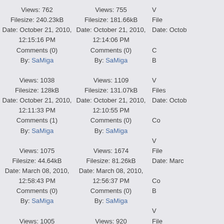Views: 762
Filesize: 240.23kB
Date: October 21, 2010, 12:15:16 PM
Comments (0)
By: SaMiga
Views: 755
Filesize: 181.66kB
Date: October 21, 2010, 12:14:06 PM
Comments (0)
By: SaMiga
Views: 1038
Filesize: 128kB
Date: October 21, 2010, 12:11:33 PM
Comments (1)
By: SaMiga
Views: 1109
Filesize: 131.07kB
Date: October 21, 2010, 12:10:55 PM
Comments (0)
By: SaMiga
Views: 1075
Filesize: 44.64kB
Date: March 08, 2010, 12:58:43 PM
Comments (0)
By: SaMiga
Views: 1674
Filesize: 81.26kB
Date: March 08, 2010, 12:56:37 PM
Comments (0)
By: SaMiga
Views: 1005
Filesize: 45.05kB
Date: March 08, 2010, 11:02:58 AM
Comments (3)
Views: 920
Filesize: 49.33kB
Date: March 08, 2010, 09:16:35 AM
Comments (0)